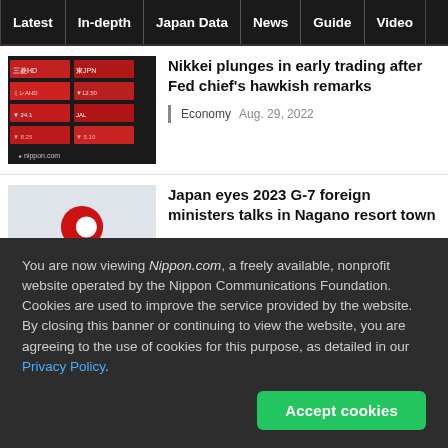Latest | In-depth | Japan Data | News | Guide | Video
Nikkei plunges in early trading after Fed chief's hawkish remarks
Economy  Aug. 29, 2022
Japan eyes 2023 G-7 foreign ministers talks in Nagano resort town
You are now viewing Nippon.com, a freely available, nonprofit website operated by the Nippon Communications Foundation. Cookies are used to improve the service provided by the website. By closing this banner or continuing to view the website, you are agreeing to the use of cookies for this purpose, as detailed in our Privacy Policy.
Accept cookies